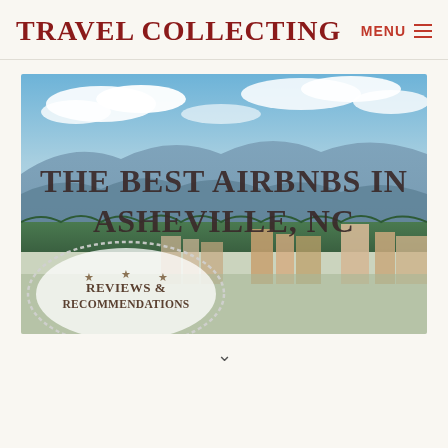Travel Collecting  MENU ≡
[Figure (photo): Aerial cityscape of Asheville, NC with mountains in the background and blue sky with clouds. Overlaid bold text reads 'THE BEST AIRBNBS IN ASHEVILLE, NC' and a stamp graphic in the lower left reads 'REVIEWS & RECOMMENDATIONS' with stars.]